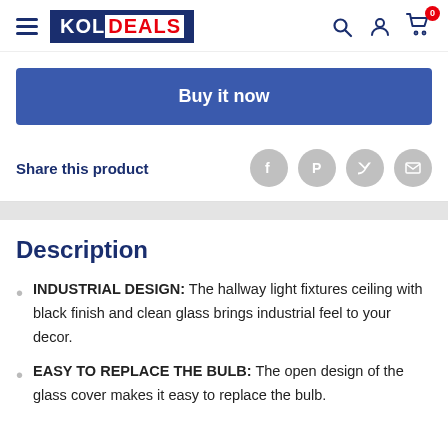KOLDEALS — navigation header with hamburger menu, logo, search, account, and cart (0 items)
Buy it now
Share this product
Description
INDUSTRIAL DESIGN: The hallway light fixtures ceiling with black finish and clean glass brings industrial feel to your decor.
EASY TO REPLACE THE BULB: The open design of the glass cover makes it easy to replace the bulb.